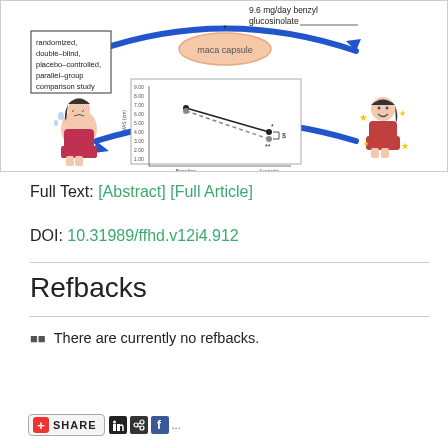[Figure (infographic): Clinical study infographic showing a randomized, double-blind, placebo-controlled, parallel-group comparison study of maca capsule (9.6 mg/day benzyl glucosinolate) with a line chart comparing maca group vs placebo group VAS scores at Baseline and 4 weeks, with before/after illustrated characters.]
Full Text: [Abstract] [Full Article]
DOI: 10.31989/ffhd.v12i4.912
Refbacks
There are currently no refbacks.